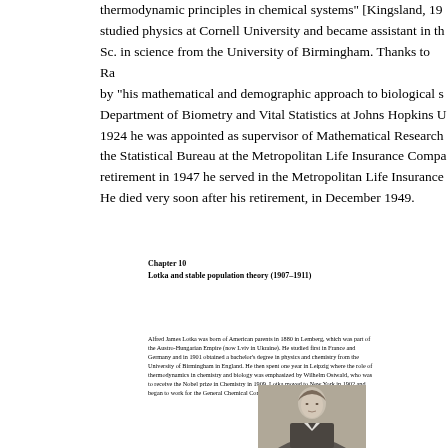thermodynamic principles in chemical systems" [Kingsland, 19... studied physics at Cornell University and became assistant in th... Sc. in science from the University of Birmingham. Thanks to Ra... by "his mathematical and demographic approach to biological s... Department of Biometry and Vital Statistics at Johns Hopkins U... 1924 he was appointed as supervisor of Mathematical Research... the Statistical Bureau at the Metropolitan Life Insurance Compa... retirement in 1947 he served in the Metropolitan Life Insurance... He died very soon after his retirement, in December 1949.
Chapter 10
Lotka and stable population theory (1907–1911)
Alfred James Lotka was born of American parents in 1880 in Lemberg, which was part of the Austro-Hungarian Empire (now Lviv in Ukraine). He studied first in France and Germany and in 1901 obtained a bachelor's degree in physics and chemistry from the University of Birmingham in England. He then spent one year in Leipzig where the role of thermodynamics in chemistry and biology was emphasized by Wilhelm Ostwald, who was to receive the Nobel prize in Chemistry in 1909. Lotka moved to New York in 1902 and began to work for the General Chemical Company.
[Figure (photo): Black and white portrait photograph of Alfred James Lotka, a man in formal attire.]